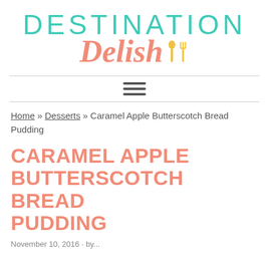[Figure (logo): Destination Delish logo with teal 'DESTINATION' text, coral/salmon italic 'Delish' script, and yellow utensil icons (spoon and fork)]
Home » Desserts » Caramel Apple Butterscotch Bread Pudding
CARAMEL APPLE BUTTERSCOTCH BREAD PUDDING
November 10, 2016 · by...